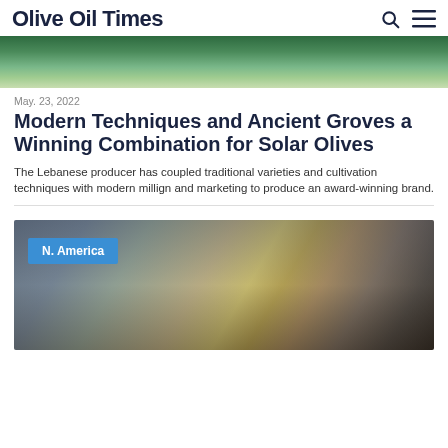Olive Oil Times
[Figure (photo): Top banner image showing olive grove or nature scene with green foliage]
May. 23, 2022
Modern Techniques and Ancient Groves a Winning Combination for Solar Olives
The Lebanese producer has coupled traditional varieties and cultivation techniques with modern millign and marketing to produce an award-winning brand.
[Figure (photo): Two people standing outdoors near a pickup truck and yellow construction/farm equipment, with an N. America region badge overlay]